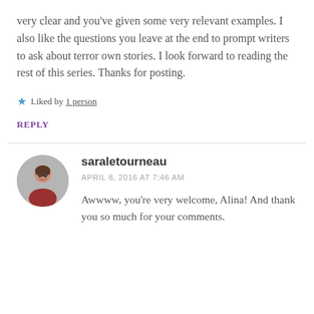very clear and you've given some very relevant examples. I also like the questions you leave at the end to prompt writers to ask about terror own stories. I look forward to reading the rest of this series. Thanks for posting.
Liked by 1 person
REPLY
saraletourneau
APRIL 8, 2016 AT 7:46 AM
Awwww, you're very welcome, Alina! And thank you so much for your comments.